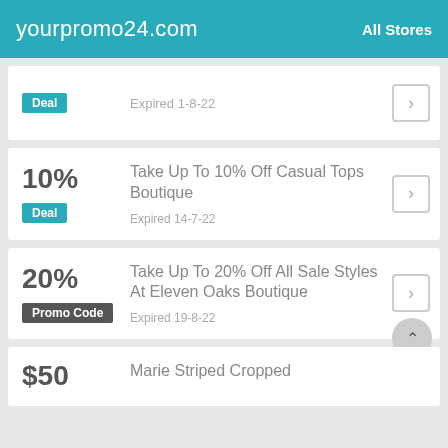yourpromo24.com  All Stores
Deal  Expired 1-8-22
10%  Take Up To 10% Off Casual Tops Boutique  Deal  Expired 14-7-22
20%  Take Up To 20% Off All Sale Styles At Eleven Oaks Boutique  Promo Code  Expired 19-8-22
$50  Marie Striped Cropped